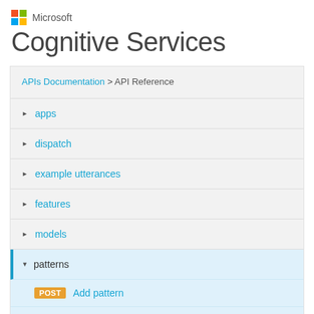Microsoft
Cognitive Services
APIs Documentation > API Reference
▶ apps
▶ dispatch
▶ example utterances
▶ features
▶ models
▼ patterns
POST Add pattern
POST (partial)